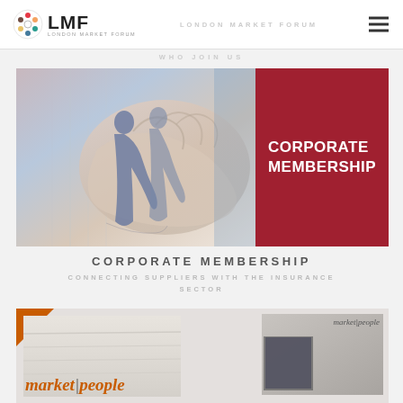LMF London Market Forum
[Figure (photo): Composite image: business handshake and two silhouetted professionals overlaid with a red panel reading CORPORATE MEMBERSHIP]
CORPORATE MEMBERSHIP
CONNECTING SUPPLIERS WITH THE INSURANCE SECTOR
[Figure (photo): Bottom strip showing market people magazine covers in orange and grey tones]